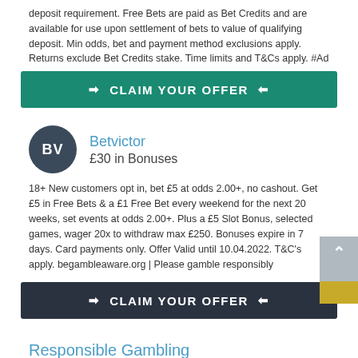deposit requirement. Free Bets are paid as Bet Credits and are available for use upon settlement of bets to value of qualifying deposit. Min odds, bet and payment method exclusions apply. Returns exclude Bet Credits stake. Time limits and T&Cs apply. #Ad
➡  CLAIM YOUR OFFER  ⬅
Betvictor
£30 in Bonuses
18+ New customers opt in, bet £5 at odds 2.00+, no cashout. Get £5 in Free Bets & a £1 Free Bet every weekend for the next 20 weeks, set events at odds 2.00+. Plus a £5 Slot Bonus, selected games, wager 20x to withdraw max £250. Bonuses expire in 7 days. Card payments only. Offer Valid until 10.04.2022. T&C's apply. begambleaware.org | Please gamble responsibly
➡  CLAIM YOUR OFFER  ⬅
Responsible Gambling
[Figure (infographic): When the FUN stops STOP responsible gambling banner with yellow background]